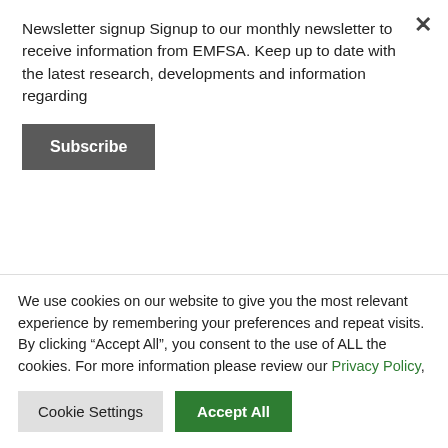Newsletter signup Signup to our monthly newsletter to receive information from EMFSA. Keep up to date with the latest research, developments and information regarding
Subscribe
effects of radiofrequency-electromagnetic field (RF-EMF) on the human body, several factors must be investigated about the influence of EMFs at the level of research using in vitro or animal models. Scientific studies on the mechanism of biological effects are also required. It has been found that RF-EMF can
We use cookies on our website to give you the most relevant experience by remembering your preferences and repeat visits. By clicking “Accept All”, you consent to the use of ALL the cookies. For more information please review our Privacy Policy,
Cookie Settings
Accept All